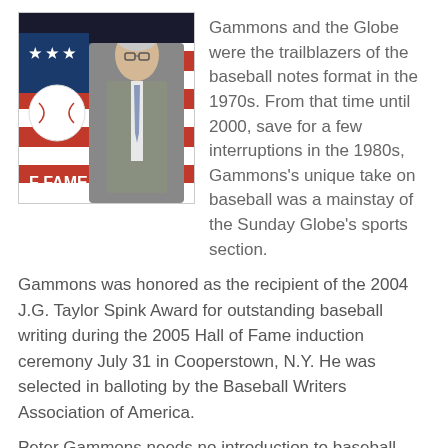[Figure (photo): A man in a grey suit standing in front of a Baseball Hall of Fame banner with stars and stripes, text reads 'BALL' and 'F FAME']
Gammons and the Globe were the trailblazers of the baseball notes format in the 1970s. From that time until 2000, save for a few interruptions in the 1980s, Gammons's unique take on baseball was a mainstay of the Sunday Globe's sports section.
Gammons was honored as the recipient of the 2004 J.G. Taylor Spink Award for outstanding baseball writing during the 2005 Hall of Fame induction ceremony July 31 in Cooperstown, N.Y. He was selected in balloting by the Baseball Writers Association of America.
Peter Gammons needs no introduction to baseball fans or